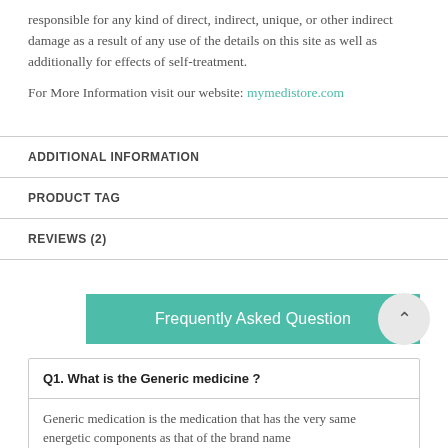responsible for any kind of direct, indirect, unique, or other indirect damage as a result of any use of the details on this site as well as additionally for effects of self-treatment.
For More Information visit our website: mymedistore.com
ADDITIONAL INFORMATION
PRODUCT TAG
REVIEWS (2)
Frequently Asked Question
Q1. What is the Generic medicine ?
Generic medication is the medication that has the very same energetic components as that of the brand name